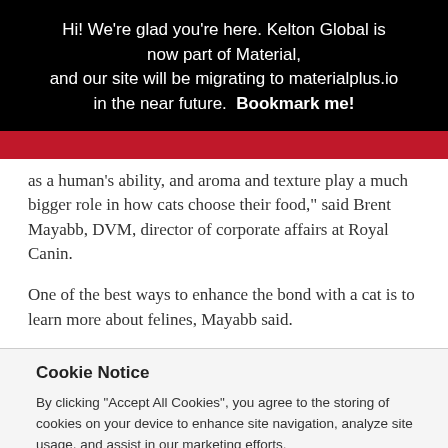Hi! We’re glad you're here. Kelton Global is now part of Material, and our site will be migrating to materialplus.io in the near future. Bookmark me!
as a human’s ability, and aroma and texture play a much bigger role in how cats choose their food,” said Brent Mayabb, DVM, director of corporate affairs at Royal Canin.
One of the best ways to enhance the bond with a cat is to learn more about felines, Mayabb said.
Cookie Notice
By clicking “Accept All Cookies”, you agree to the storing of cookies on your device to enhance site navigation, analyze site usage, and assist in our marketing efforts.